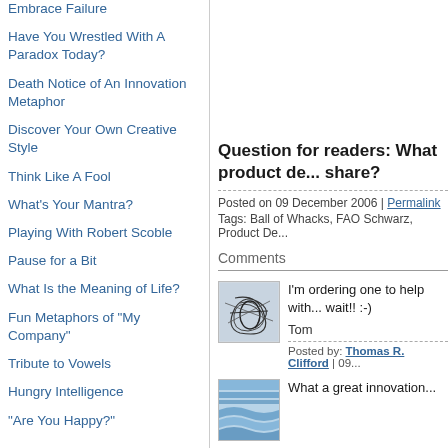Embrace Failure
Have You Wrestled With A Paradox Today?
Death Notice of An Innovation Metaphor
Discover Your Own Creative Style
Think Like A Fool
What's Your Mantra?
Playing With Robert Scoble
Pause for a Bit
What Is the Meaning of Life?
Fun Metaphors of "My Company"
Tribute to Vowels
Hungry Intelligence
"Are You Happy?"
Question for readers: What product de... share?
Posted on 09 December 2006 | Permalink
Tags: Ball of Whacks, FAO Schwarz, Product De...
Comments
[Figure (illustration): Abstract scribble/web illustration avatar for commenter Tom]
I'm ordering one to help with... wait!! :-)
Tom
Posted by: Thomas R. Clifford | 09...
[Figure (illustration): Blue wave/stripe pattern avatar for second commenter]